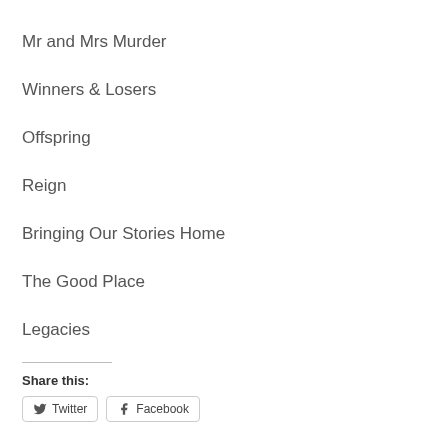Mr and Mrs Murder
Winners & Losers
Offspring
Reign
Bringing Our Stories Home
The Good Place
Legacies
Share this:
Twitter  Facebook